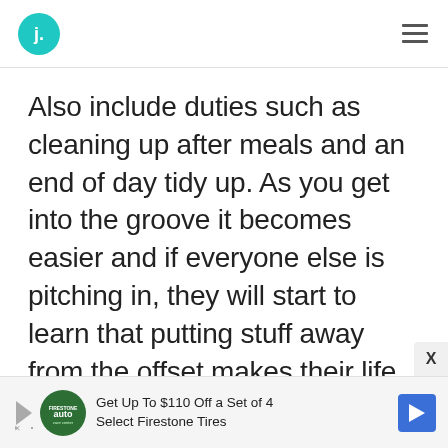Also include duties such as cleaning up after meals and an end of day tidy up. As you get into the groove it becomes easier and if everyone else is pitching in, they will start to learn that putting stuff away from the offset makes their life easier.
[Figure (screenshot): Advertisement bar: Get Up To $110 Off a Set of 4 Select Firestone Tires with Firestone Auto logo and blue arrow icon]